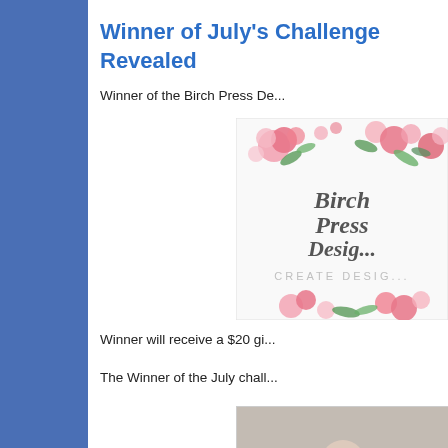Winner of July's Challenge Revealed
Winner of the Birch Press De...
[Figure (logo): Birch Press Designs logo with floral decoration and text 'Birch Press Design, CREATE DESIGN']
Winner will receive a $20 gi...
The Winner of the July chall...
[Figure (photo): Partial photo at bottom of page]